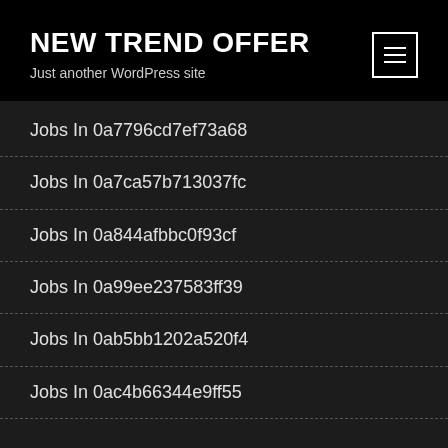NEW TREND OFFER — Just another WordPress site
Jobs In 0a7796cd7ef73a68
Jobs In 0a7ca57b713037fc
Jobs In 0a844afbbc0f93cf
Jobs In 0a99ee237583ff39
Jobs In 0ab5bb1202a520f4
Jobs In 0ac4b66344e9ff55